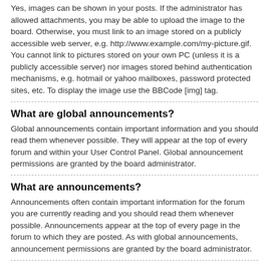Yes, images can be shown in your posts. If the administrator has allowed attachments, you may be able to upload the image to the board. Otherwise, you must link to an image stored on a publicly accessible web server, e.g. http://www.example.com/my-picture.gif. You cannot link to pictures stored on your own PC (unless it is a publicly accessible server) nor images stored behind authentication mechanisms, e.g. hotmail or yahoo mailboxes, password protected sites, etc. To display the image use the BBCode [img] tag.
What are global announcements?
Global announcements contain important information and you should read them whenever possible. They will appear at the top of every forum and within your User Control Panel. Global announcement permissions are granted by the board administrator.
What are announcements?
Announcements often contain important information for the forum you are currently reading and you should read them whenever possible. Announcements appear at the top of every page in the forum to which they are posted. As with global announcements, announcement permissions are granted by the board administrator.